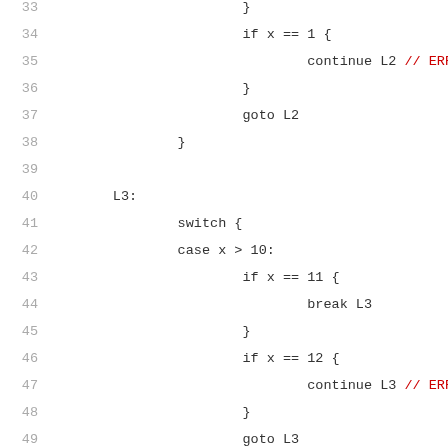Code listing lines 33-54 showing Go-like switch/label/goto syntax with ERROR comments on continue statements
33    }
34    if x == 1 {
35        continue L2 // ERROR "i...
36    }
37    goto L2
38  }
39
40  L3:
41    switch {
42    case x > 10:
43        if x == 11 {
44            break L3
45        }
46        if x == 12 {
47            continue L3 // ERROR "i...
48        }
49        goto L3
50    }
51
52  L4:
53    if true {
54    if x == 13 {